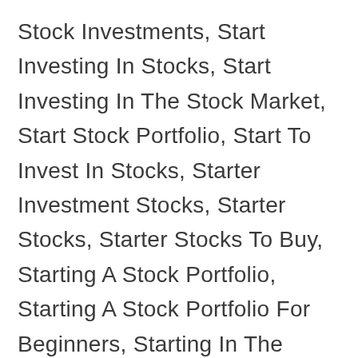Stock Investments, Start Investing In Stocks, Start Investing In The Stock Market, Start Stock Portfolio, Start To Invest In Stocks, Starter Investment Stocks, Starter Stocks, Starter Stocks To Buy, Starting A Stock Portfolio, Starting A Stock Portfolio For Beginners, Starting In The Stock Market, Starting In The Stocks Market, Starting Investing In Stock Market, Starting Investing In Stocks, Starting Stocks To Buy, Starting To Invest In Stocks, Steps To Invest In Stock Market, Steps To Invest In Stocks, Steps To Investing, Steps To Start Investing, Stock 101, Stock Advice For Beginners, Stock And Shares